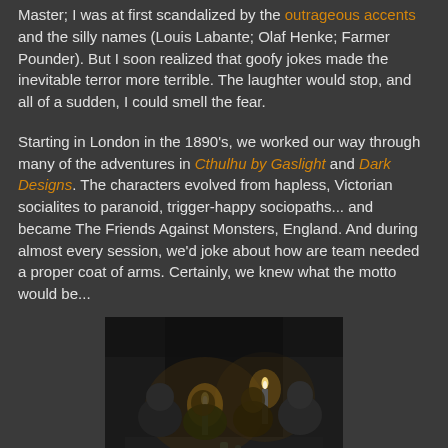Master; I was at first scandalized by the outrageous accents and the silly names (Louis Labante; Olaf Henke; Farmer Pounder). But I soon realized that goofy jokes made the inevitable terror more terrible. The laughter would stop, and all of a sudden, I could smell the fear.
Starting in London in the 1890's, we worked our way through many of the adventures in Cthulhu by Gaslight and Dark Designs. The characters evolved from hapless, Victorian socialites to paranoid, trigger-happy sociopaths... and became The Friends Against Monsters, England. And during almost every session, we'd joke about how are team needed a proper coat of arms. Certainly, we knew what the motto would be...
[Figure (photo): Black and white photo of a group of people sitting around a table lit by candles in a dark room]